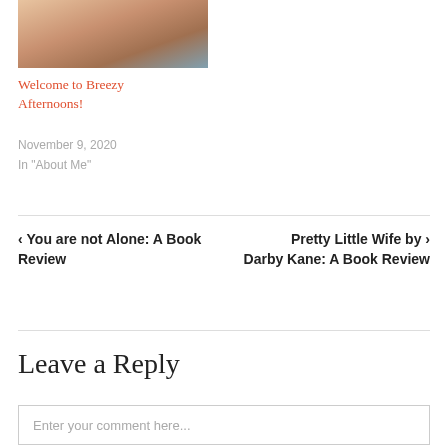[Figure (photo): Photo of a woman with blonde hair wearing a teal top, cropped at the shoulders]
Welcome to Breezy Afternoons!
November 9, 2020
In "About Me"
‹ You are not Alone: A Book Review
Pretty Little Wife by › Darby Kane: A Book Review
Leave a Reply
Enter your comment here...